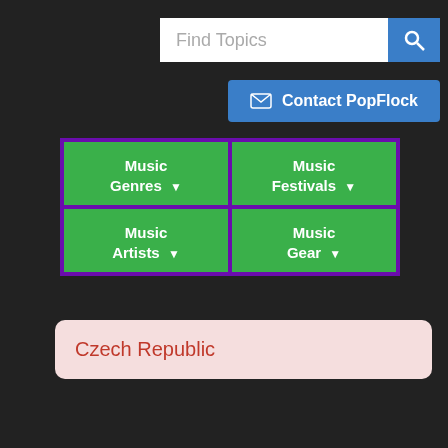Find Topics | Contact PopFlock
[Figure (screenshot): Navigation menu grid with four green buttons: Music Genres, Music Festivals, Music Artists, Music Gear]
Czech Republic
Info | Videos | Discuss
Get Czech Republic essential facts below. View Videos or join the Czech Republic discussion. Add Czech Republic to your PopFlock.com topic list for future reference or share this resource on social media.